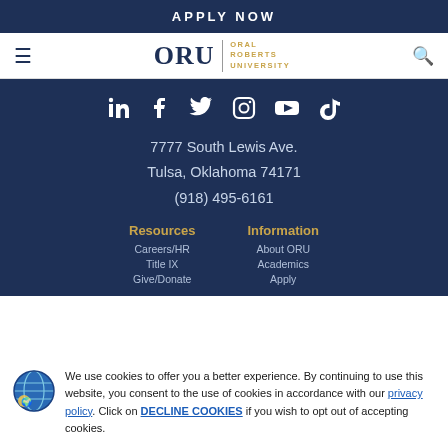APPLY NOW
[Figure (logo): ORU – Oral Roberts University logo with hamburger menu and search icon in navigation bar]
[Figure (infographic): Social media icons: LinkedIn, Facebook, Twitter, Instagram, YouTube, TikTok]
7777 South Lewis Ave.
Tulsa, Oklahoma 74171
(918) 495-6161
Resources
Information
Careers/HR
About ORU
Title IX
Academics
Give/Donate
Apply
We use cookies to offer you a better experience. By continuing to use this website, you consent to the use of cookies in accordance with our privacy policy. Click on DECLINE COOKIES if you wish to opt out of accepting cookies.